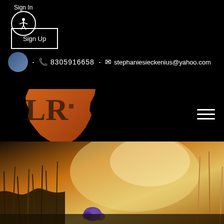Sign In
Sign Up
• 📞 8305916658 • ✉ stephaniesieckenius@yahoo.com
[Figure (logo): Lantana Realty logo: orange Texas state silhouette with LR monogram, gold text LANTANA REALTY below]
[Figure (photo): Outdoor nature photo with warm golden tones, dry grass, wildflowers, blurred landscape background]